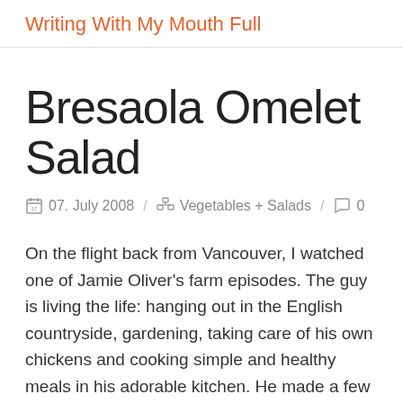Writing With My Mouth Full
Bresaola Omelet Salad
07. July 2008 / Vegetables + Salads / 0
On the flight back from Vancouver, I watched one of Jamie Oliver's farm episodes. The guy is living the life: hanging out in the English countryside, gardening, taking care of his own chickens and cooking simple and healthy meals in his adorable kitchen. He made a few dishes during this one episode, but this bresaola omelet salad struck me as something refreshing, but at the same time substantial for a sunny weekend. The key is to cook the egg like a crepe and rolling it to slice it like strands of paste. Thinly sliced